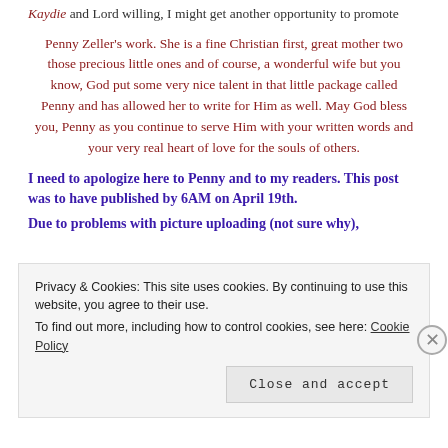Kaydie and Lord willing, I might get another opportunity to promote
Penny Zeller’s work. She is a fine Christian first, great mother two those precious little ones and of course, a wonderful wife but you know, God put some very nice talent in that little package called Penny and has allowed her to write for Him as well. May God bless you, Penny as you continue to serve Him with your written words and your very real heart of love for the souls of others.
I need to apologize here to Penny and to my readers. This post was to have published by 6AM on April 19th. Due to problems with picture uploading (not sure why),
Privacy & Cookies: This site uses cookies. By continuing to use this website, you agree to their use. To find out more, including how to control cookies, see here: Cookie Policy
Close and accept